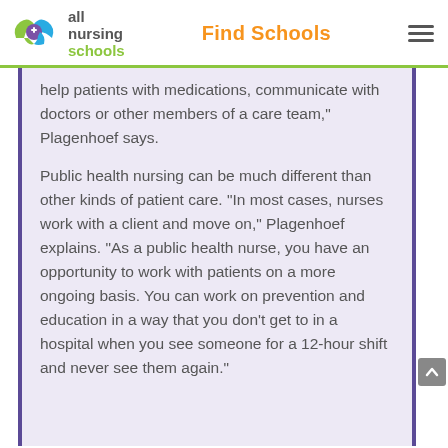all nursing schools | Find Schools
help patients with medications, communicate with doctors or other members of a care team," Plagenhoef says.
Public health nursing can be much different than other kinds of patient care. "In most cases, nurses work with a client and move on," Plagenhoef explains. "As a public health nurse, you have an opportunity to work with patients on a more ongoing basis. You can work on prevention and education in a way that you don't get to in a hospital when you see someone for a 12-hour shift and never see them again."